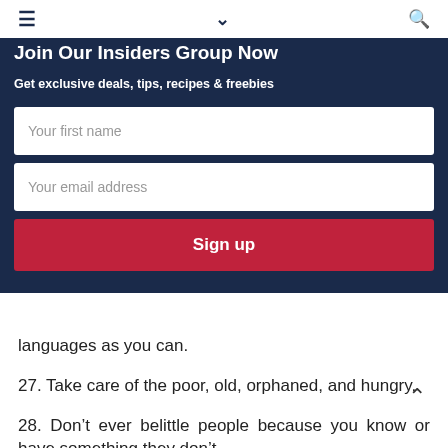≡  ∨  🔍
Join Our Insiders Group Now
Get exclusive deals, tips, recipes & freebies
Your first name
Your email address
Sign up
languages as you can.
27. Take care of the poor, old, orphaned, and hungry.
28. Don't ever belittle people because you know or have something they don't.